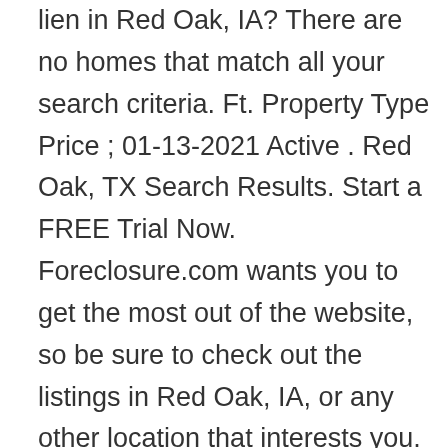lien in Red Oak, IA? There are no homes that match all your search criteria. Ft. Property Type Price ; 01-13-2021 Active . Red Oak, TX Search Results. Start a FREE Trial Now. Foreclosure.com wants you to get the most out of the website, so be sure to check out the listings in Red Oak, IA, or any other location that interests you. Ft. Property Type Price ; 01-09-2021 Active . Fine harrison piano, red leather easy chairs, iron settee, oak sideboard. This represents great opportunities for a real estate buyer to realize amazing savings on the purchase of a home. View Details. Founded in 1998. Home buyers and Investors buy the liens in Red Oak, IA at a tax lien auction or online auction. There are 0 active foreclosures & foreclosed homes for sale ... HousingList.com also provides a full listings of conventional rent to own homes, for sale by owner